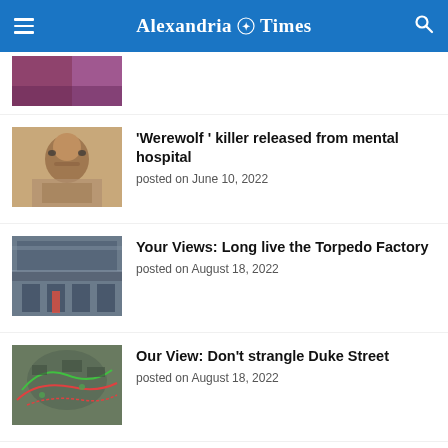Alexandria Times
[Figure (photo): Partial top article thumbnail image cropped at top]
'Werewolf ' killer released from mental hospital
posted on June 10, 2022
[Figure (photo): Interior of a large building, like a factory or market with shelves]
Your Views: Long live the Torpedo Factory
posted on August 18, 2022
[Figure (photo): Aerial or overhead view of roads or infrastructure with colored lines]
Our View: Don't strangle Duke Street
posted on August 18, 2022
LEGAL NOTICES